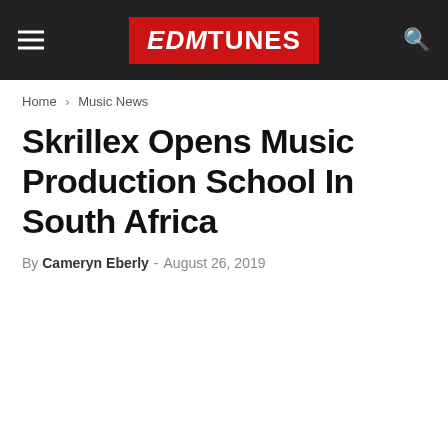EDMTUNES
Home › Music News
Skrillex Opens Music Production School In South Africa
By Cameryn Eberly - August 26, 2019